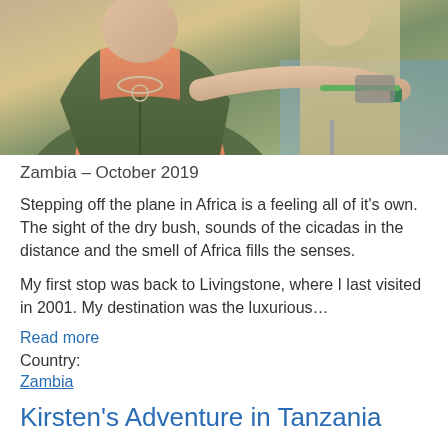[Figure (photo): A close-up photo of a person wearing a safari vest over an orange shirt, with a necklace visible, on a boat. Another person in khaki is partially visible in the background.]
Zambia – October 2019
Stepping off the plane in Africa is a feeling all of it's own. The sight of the dry bush, sounds of the cicadas in the distance and the smell of Africa fills the senses.
My first stop was back to Livingstone, where I last visited in 2001. My destination was the luxurious…
Read more
Country:
Zambia
Kirsten's Adventure in Tanzania